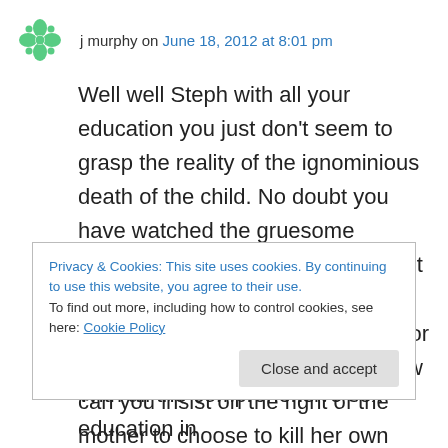j murphy on June 18, 2012 at 8:01 pm
Well well Steph with all your education you just don't seem to grasp the reality of the ignominious death of the child. No doubt you have watched the gruesome documentaries on abortion, and yet you choose to ignore the suffering of the child whether aborted early or late as in partial birth abortion. How can you insist on the right of the mother to choose to kill her own child, and to ignore your own motherly
Privacy & Cookies: This site uses cookies. By continuing to use this website, you agree to their use.
To find out more, including how to control cookies, see here: Cookie Policy
Close and accept
With all the comprehensive sex education in